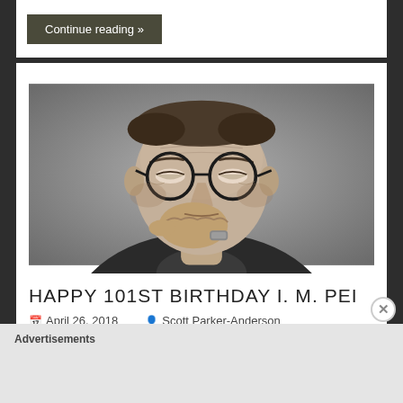Continue reading »
[Figure (photo): Black and white portrait photograph of an elderly man wearing round glasses, with his hand raised to his chin in a thoughtful pose, wearing a suit.]
HAPPY 101ST BIRTHDAY I. M. PEI
April 26, 2018   Scott Parker-Anderson
Advertisements